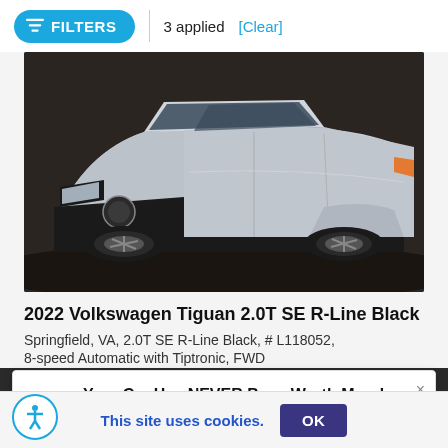FILTERS | 3 applied [Clear]
[Figure (photo): Front three-quarter view of a silver 2022 Volkswagen Tiguan 2.0T SE R-Line Black SUV on a dark outdoor surface]
2022 Volkswagen Tiguan 2.0T SE R-Line Black
Springfield, VA, 2.0T SE R-Line Black, # L118052,
8-speed Automatic with Tiptronic, FWD
Your Car Has NEVER Been Worth More!
Sell or Trade Your Car Today.
This site uses cookies. OK